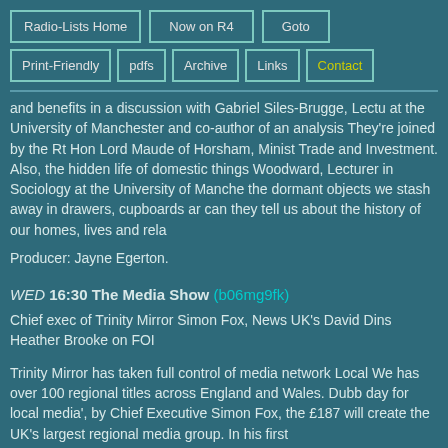Radio-Lists Home
Now on R4
Goto
Print-Friendly
pdfs
Archive
Links
Contact
and benefits in a discussion with Gabriel Siles-Brugge, Lectu at the University of Manchester and co-author of an analysis They're joined by the Rt Hon Lord Maude of Horsham, Minist Trade and Investment. Also, the hidden life of domestic things Woodward, Lecturer in Sociology at the University of Manche the dormant objects we stash away in drawers, cupboards ar can they tell us about the history of our homes, lives and rela
Producer: Jayne Egerton.
WED 16:30 The Media Show (b06mg9fk)
Chief exec of Trinity Mirror Simon Fox, News UK's David Dins Heather Brooke on FOI
Trinity Mirror has taken full control of media network Local We has over 100 regional titles across England and Wales. Dubb day for local media', by Chief Executive Simon Fox, the £187 will create the UK's largest regional media group. In his first